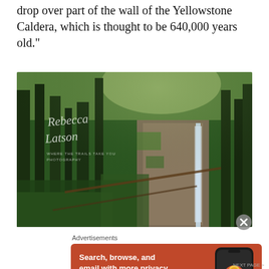drop over part of the wall of the Yellowstone Caldera, which is thought to be 640,000 years old."
[Figure (photo): Dense forest scene with tall evergreen trees, moss-covered rocks, and a thin waterfall cascading down a rocky cliff. Watermarked with 'Rebecca Latson – Where the Trails Take You Photography' in cursive script.]
Advertisements
[Figure (photo): DuckDuckGo advertisement on orange background. Text: 'Search, browse, and email with more privacy. All in One Free App' with DuckDuckGo duck logo and a smartphone mockup.]